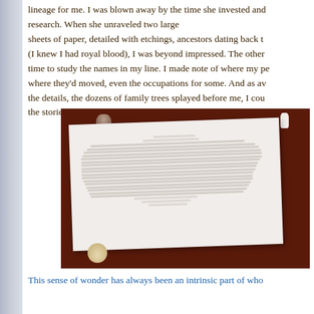lineage for me. I was blown away by the time she invested and research. When she unraveled two large sheets of paper, detailed with etchings, ancestors dating back t (I knew I had royal blood), I was beyond impressed. The other time to study the names in my line. I made note of where my pe where they'd moved, even the occupations for some. And as a the details, the dozens of family trees splayed before me, I cou the stories.
[Figure (photo): A large sheet of paper with a detailed family tree/genealogy chart laid flat on a dark wood-colored surface, with small objects (a cylindrical tin, a small figurine, a candle) around it]
This sense of wonder has always been an intrinsic part of who